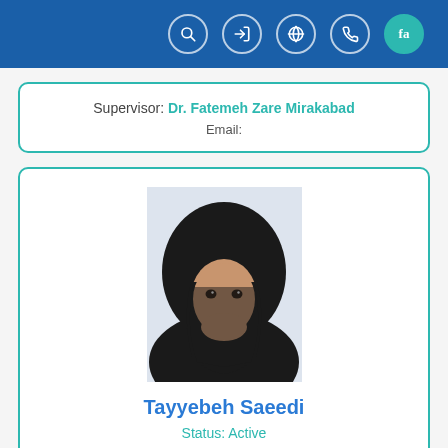Navigation icons (search, login, globe, phone, fa)
Supervisor: Dr. Fatemeh Zare Mirakabad
Email:
[Figure (photo): Portrait photo of a young woman wearing a black hijab, facing forward against a white/blue background]
Tayyebeh Saeedi
Status: Active